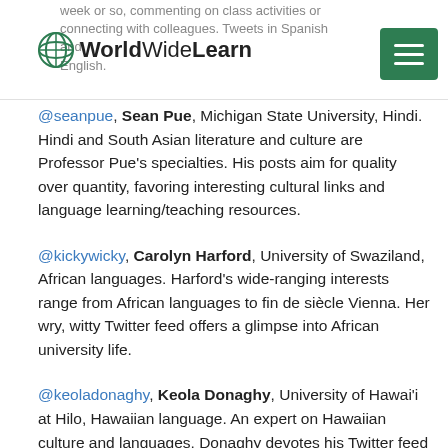week or so, commenting on class activities or connecting with colleagues. Tweets in Spanish and English.
@seanpue, Sean Pue, Michigan State University, Hindi. Hindi and South Asian literature and culture are Professor Pue’s specialties. His posts aim for quality over quantity, favoring interesting cultural links and language learning/teaching resources.
@kickywicky, Carolyn Harford, University of Swaziland, African languages. Harford’s wide-ranging interests range from African languages to fin de siècle Vienna. Her wry, witty Twitter feed offers a glimpse into African university life.
@keoladonaghy, Keola Donaghy, University of Hawai’i at Hilo, Hawaiian language. An expert on Hawaiian culture and languages, Donaghy devotes his Twitter feed to other interests like sports and